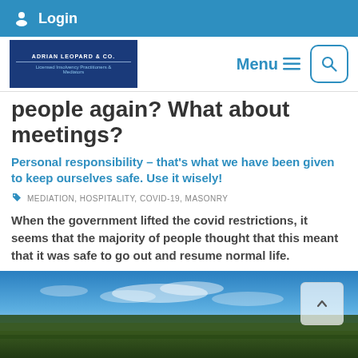Login
[Figure (logo): Adrian Leopard & Co. Licensed Insolvency Practitioners & Mediators logo on dark blue background]
people again? What about meetings?
Personal responsibility – that's what we have been given to keep ourselves safe. Use it wisely!
MEDIATION, HOSPITALITY, COVID-19, MASONRY
When the government lifted the covid restrictions, it seems that the majority of people thought that this meant that it was safe to go out and resume normal life.
[Figure (photo): Landscape photo showing green forest/trees in foreground and blue sky with clouds in background]